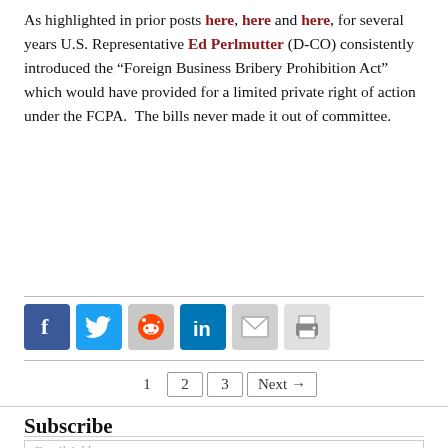As highlighted in prior posts here, here and here, for several years U.S. Representative Ed Perlmutter (D-CO) consistently introduced the “Foreign Business Bribery Prohibition Act” which would have provided for a limited private right of action under the FCPA.  The bills never made it out of committee.
[Figure (other): Social media sharing icons: Facebook, Twitter, Reddit, LinkedIn, Email, Print]
1  2  3  Next →
Subscribe
Email Address